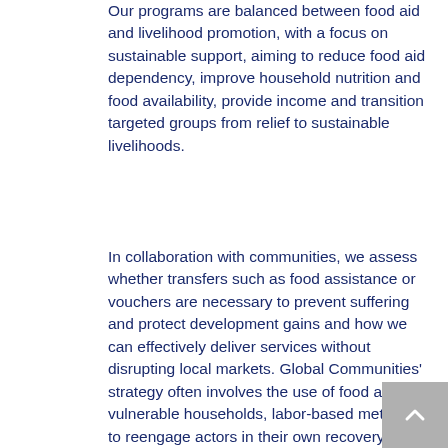Our programs are balanced between food aid and livelihood promotion, with a focus on sustainable support, aiming to reduce food aid dependency, improve household nutrition and food availability, provide income and transition targeted groups from relief to sustainable livelihoods.
In collaboration with communities, we assess whether transfers such as food assistance or vouchers are necessary to prevent suffering and protect development gains and how we can effectively deliver services without disrupting local markets. Global Communities' strategy often involves the use of food aid to vulnerable households, labor-based methods to reengage actors in their own recovery and a focus on women, and can also include the deployment of innovative electronic food voucher systems.